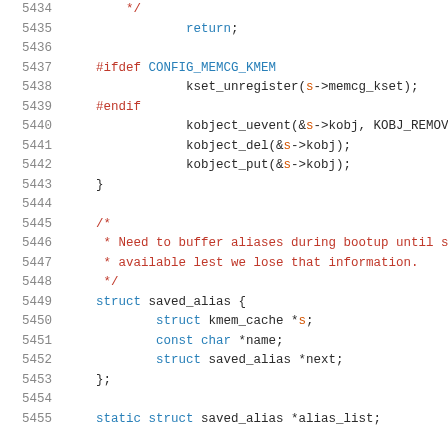Source code listing showing C kernel code lines 5434-5455 including kobject operations, preprocessor directives, comments, and struct saved_alias definition.